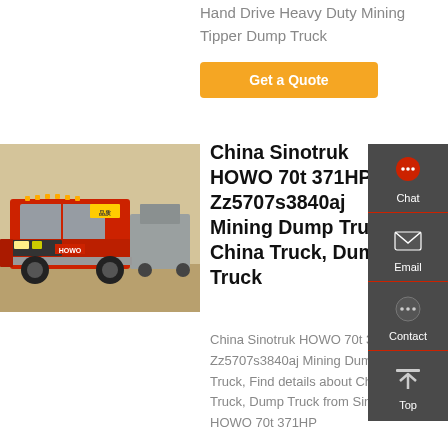Hand Drive Heavy Duty Mining Tipper Dump Truck
Get a Quote
[Figure (photo): Red HOWO heavy-duty mining dump truck parked in a yard with other trucks in background]
China Sinotruk HOWO 70t 371HP Zz5707s3840aj Mining Dump Truck - China Truck, Dump Truck
China Sinotruk HOWO 70t 371HP Zz5707s3840aj Mining Dump Truck, Find details about China Truck, Dump Truck from Sinotruk HOWO 70t 371HP